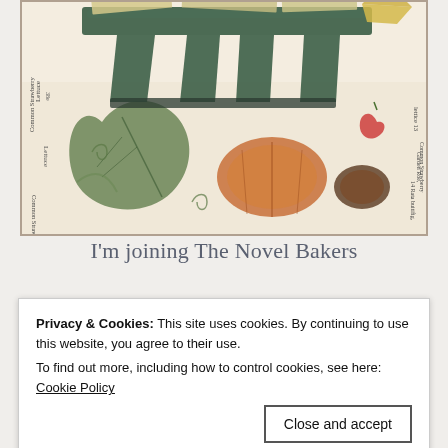[Figure (photo): Overhead/close-up photo of a wooden chair or shelf with botanical print papers/fabric underneath, cheese or food items on top, with decorative antique botanical illustration visible showing leaves, vines, pumpkins, strawberries. Text on botanical print reads: Lettuce, Common Strawberry, Garden Roe, Rata buitifig, and other botanical labels.]
I'm joining The Novel Bakers
Privacy & Cookies: This site uses cookies. By continuing to use this website, you agree to their use.
To find out more, including how to control cookies, see here:
Cookie Policy
[Figure (photo): Bottom strip of a photo showing green plant/herb foliage, partially visible.]